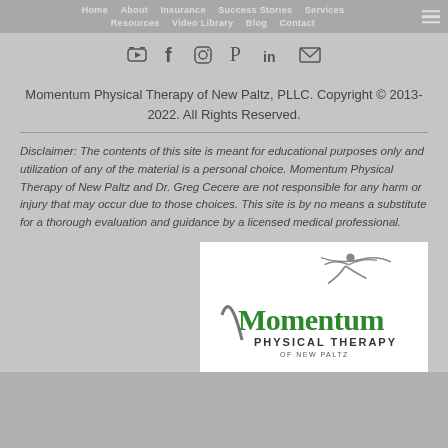Home  About  Insurance  Success Stories  Services  Resources  Video Library  Blog  Contact
[Figure (logo): Social media icons row: YouTube, Facebook, Instagram, Pinterest, LinkedIn, Email]
Momentum Physical Therapy of New Paltz, PLLC.  Copyright © 2013-2022.  All Rights Reserved.
Disclaimer: The contents of this site is meant for educational purposes only and utilization of any of the material is a personal choice.  Momentum Physical Therapy of New Paltz and Dr. Greg Cecere are not responsible for any harm or injury that may occur due to those choices.  This site is by no means a substitute for a thorough evaluation and guidance by a licensed medical professional.
[Figure (logo): Momentum Physical Therapy of New Paltz logo — green stylized runner figure above the word MOMENTUM in large green hand-lettered font, with 'PHYSICAL THERAPY' and 'OF NEW PALTZ' below in smaller caps]